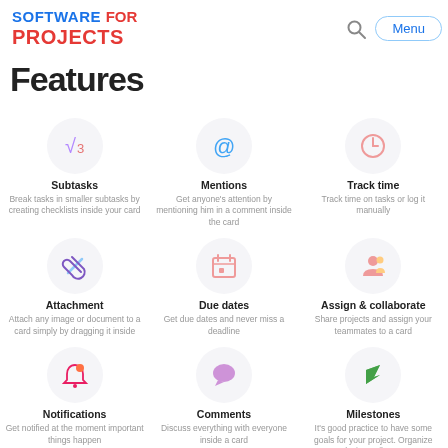SOFTWARE FOR PROJECTS
Features
[Figure (infographic): Grid of 9 feature icons with titles and descriptions: Subtasks, Mentions, Track time, Attachment, Due dates, Assign & collaborate, Notifications, Comments, Milestones, Labels, Task relationships (PRO), Issue auto-close]
Subtasks - Break tasks in smaller subtasks by creating checklists inside your card
Mentions - Get anyone's attention by mentioning him in a comment inside the card
Track time - Track time on tasks or log it manually
Attachment - Attach any image or document to a card simply by dragging it inside
Due dates - Get due dates and never miss a deadline
Assign & collaborate - Share projects and assign your teammates to a card
Notifications - Get notified at the moment important things happen
Comments - Discuss everything with everyone inside a card
Milestones - It's good practice to have some goals for your project. Organize tasks into milestones
Labels - Add more context to your cards and
Task relationships PRO - Identify stoppers and blockers
Issue auto-close - Close or reference issues from